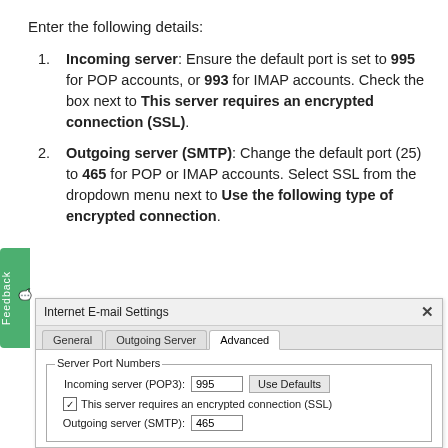Enter the following details:
Incoming server: Ensure the default port is set to 995 for POP accounts, or 993 for IMAP accounts. Check the box next to This server requires an encrypted connection (SSL).
Outgoing server (SMTP): Change the default port (25) to 465 for POP or IMAP accounts. Select SSL from the dropdown menu next to Use the following type of encrypted connection.
[Figure (screenshot): Internet E-mail Settings dialog showing Advanced tab with Server Port Numbers group. Incoming server (POP3) set to 995 with Use Defaults button, checkbox for This server requires an encrypted connection (SSL) checked, Outgoing server (SMTP) set to 465.]